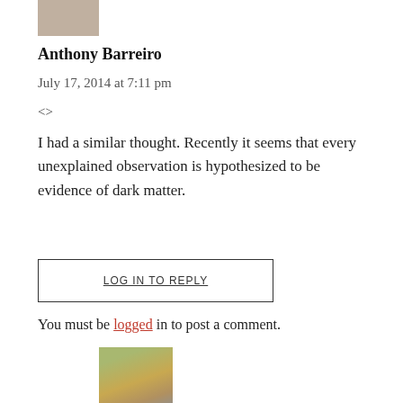[Figure (photo): Small avatar photo of Anthony Barreiro, top left]
Anthony Barreiro
July 17, 2014 at 7:11 pm
<>
I had a similar thought. Recently it seems that every unexplained observation is hypothesized to be evidence of dark matter.
LOG IN TO REPLY
You must be logged in to post a comment.
[Figure (photo): Avatar photo of Anthony Barreiro, larger, wearing a hat]
Anthony Barreiro
July 17, 2014 at 7:13 pm